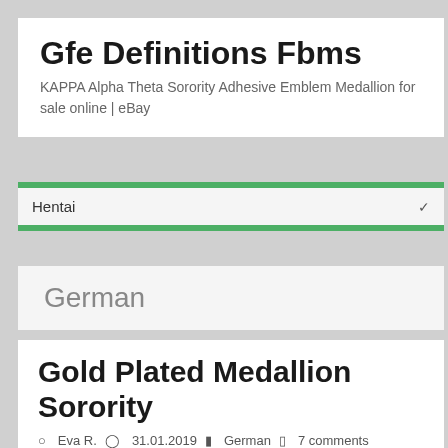Gfe Definitions Fbms
KAPPA Alpha Theta Sorority Adhesive Emblem Medallion for sale online | eBay
Hentai
German
Gold Plated Medallion Sorority
Eva R.   31.01.2019   German   7 comments